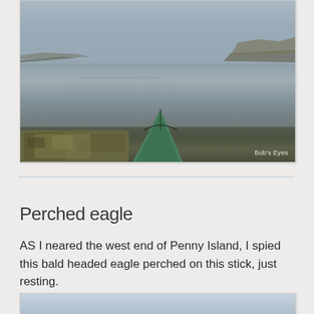[Figure (photo): View from a kayak looking forward over the bow of a green kayak across a calm, flat river or bay. Overcast sky, flat water, low vegetation on the shoreline in the distance. A camouflage-colored bag or gear is visible in the foreground. Watermark reads 'Bob's Eyes' in lower right corner.]
Perched eagle
AS I neared the west end of Penny Island, I spied this bald headed eagle perched on this stick, just resting.
[Figure (photo): Partial photo of cloudy sky, image is cropped at bottom of page.]